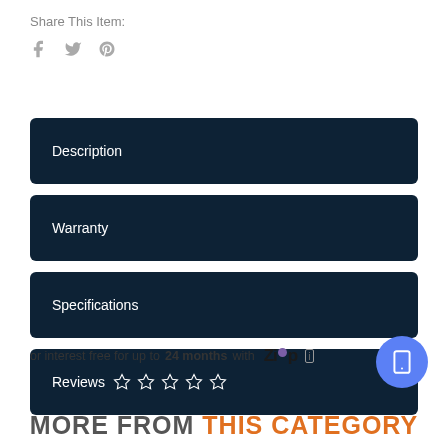Share This Item:
[Figure (other): Social share icons: Facebook, Twitter, Pinterest]
Description
Warranty
Specifications
Reviews ☆ ☆ ☆ ☆ ☆
or interest free for up to 24 months with Zip
MORE FROM THIS CATEGORY